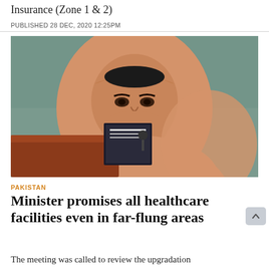Insurance (Zone 1 & 2)
PUBLISHED 28 DEC, 2020 12:25PM
[Figure (photo): A woman wearing a light peach/salmon colored hijab and matching outfit sits at what appears to be a podium or desk. She faces the camera directly. The background is a muted teal/grey color.]
PAKISTAN
Minister promises all healthcare facilities even in far-flung areas
The meeting was called to review the upgradation